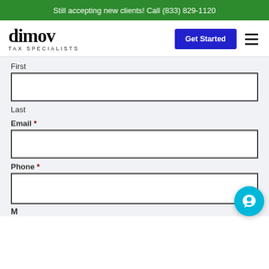Still accepting new clients! Call (833) 829-1120
[Figure (logo): Dimov Tax Specialists logo with stylized serif wordmark and 'TAX SPECIALISTS' subtitle]
Get Started button
First
Last
Email *
Phone *
M...